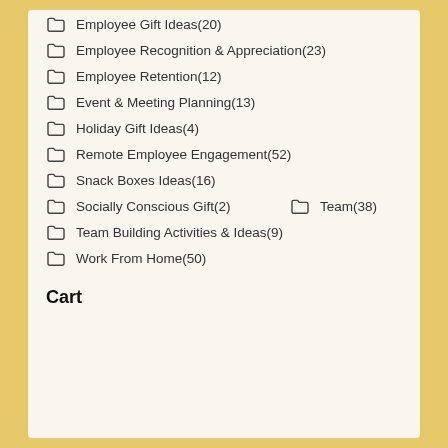Employee Gift Ideas(20)
Employee Recognition & Appreciation(23)
Employee Retention(12)
Event & Meeting Planning(13)
Holiday Gift Ideas(4)
Remote Employee Engagement(52)
Snack Boxes Ideas(16)
Socially Conscious Gift(2)
Team(38)
Team Building Activities & Ideas(9)
Work From Home(50)
Cart